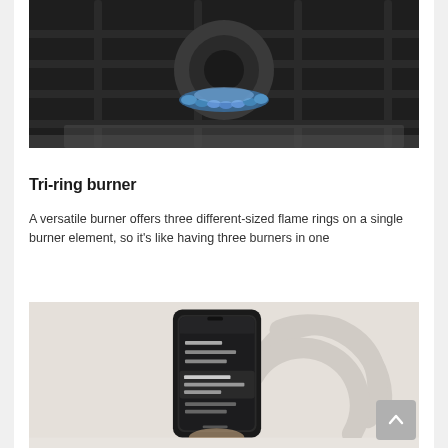[Figure (photo): Close-up photo of a gas stove burner with a blue flame ring on a dark metal grate surface]
Tri-ring burner
A versatile burner offers three different-sized flame rings on a single burner element, so it's like having three burners in one
[Figure (photo): A hand holding a smartphone showing an app interface, with a large Wi-Fi or connectivity icon in the background on a light beige/grey background]